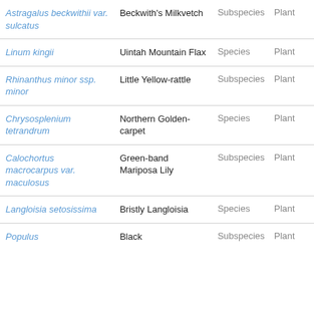| Scientific Name | Common Name | Rank | Type |
| --- | --- | --- | --- |
| Astragalus beckwithii var. sulcatus | Beckwith's Milkvetch | Subspecies | Plant |
| Linum kingii | Uintah Mountain Flax | Species | Plant |
| Rhinanthus minor ssp. minor | Little Yellow-rattle | Subspecies | Plant |
| Chrysosplenium tetrandrum | Northern Golden-carpet | Species | Plant |
| Calochortus macrocarpus var. maculosus | Green-band Mariposa Lily | Subspecies | Plant |
| Langloisia setosissima | Bristly Langloisia | Species | Plant |
| Populus | Black | Subspecies | Plant |